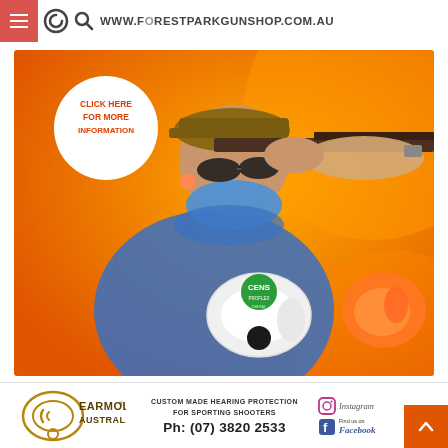WWW.FORESTPARKGUNSHOP.COM.AU
[Figure (photo): Advertisement for CENS ProFlex Digital hearing protection. Orange background with a sportsman aiming a shotgun, wearing ear protection. White circle badge reads CLICK HERE FOR MORE INFORMATION. Product images of CENS ProFlex Digital electronic earmold shown in white/green and orange variants.]
[Figure (logo): Earmold Australia logo — stylised ear with kangaroo silhouette]
CUSTOM MADE HEARING PROTECTION FOR SPORTING SHOOTERS
Ph: (07) 3820 2533
[Figure (logo): Instagram logo icon]
Instagram
[Figure (logo): Facebook logo icon]
Find us on Facebook